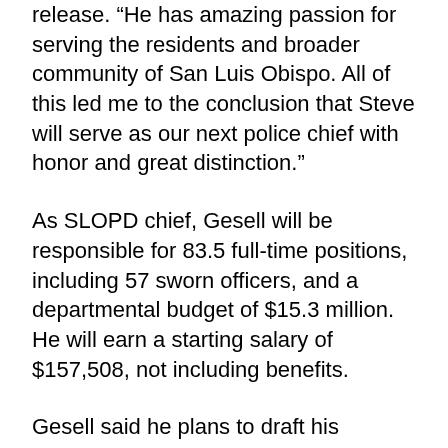release. “He has amazing passion for serving the residents and broader community of San Luis Obispo. All of this led me to the conclusion that Steve will serve as our next police chief with honor and great distinction.”
As SLOPD chief, Gesell will be responsible for 83.5 full-time positions, including 57 sworn officers, and a departmental budget of $15.3 million. He will earn a starting salary of $157,508, not including benefits.
Gesell said he plans to draft his priorities much like his predecessor: preserving SLO’s quality of life and addressing alcohol and noise problems in the downtown area and surrounding neighborhoods.
He said at the conference that he is looking to get his “sea legs”—meeting with residents and city staff to